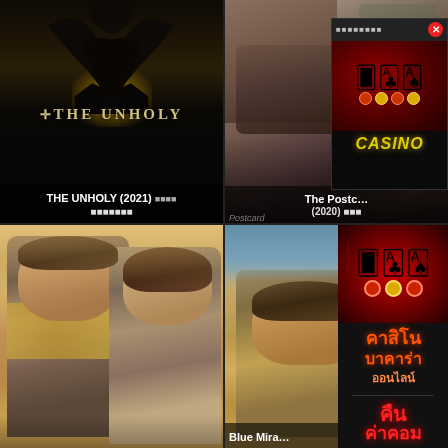[Figure (photo): Movie poster for THE UNHOLY (2021) showing dark hooded figure above a house with golden glow, gothic horror style. Text overlay: '+THE UNHOLY' and 'THE UNHOLY (2021)' with Thai subtitle text]
[Figure (photo): Movie poster for The Postcard (2020) showing two men's faces close up, partially obscured by casino advertisement overlay showing cards, chips, and 'CASINO' text with close button]
[Figure (photo): Movie still showing a couple (man and woman) facing each other outdoors, warm golden lighting, romantic scene]
[Figure (photo): Movie poster for Blue Miracle showing a man outdoors, partially covered by casino sidebar advertisement with Thai text: คาสิโน บาคาร่า ออนไลน์ คืน ค่าคอม (Casino Baccarat Online, cashback commission)]